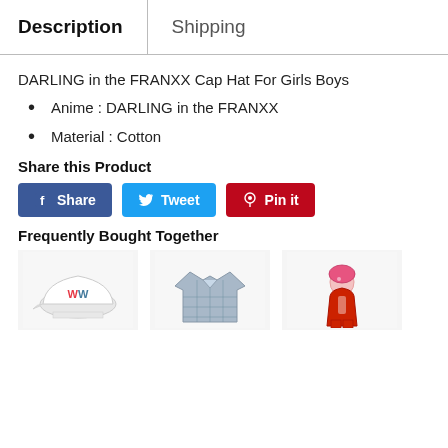Description | Shipping
DARLING in the FRANXX Cap Hat For Girls Boys
Anime : DARLING in the FRANXX
Material : Cotton
Share this Product
Share  Tweet  Pin it
Frequently Bought Together
[Figure (photo): Three product images showing a cap, a plaid shirt, and an anime figure]